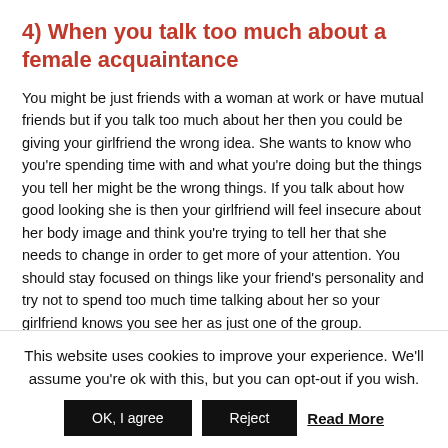4) When you talk too much about a female acquaintance
You might be just friends with a woman at work or have mutual friends but if you talk too much about her then you could be giving your girlfriend the wrong idea. She wants to know who you're spending time with and what you're doing but the things you tell her might be the wrong things. If you talk about how good looking she is then your girlfriend will feel insecure about her body image and think you're trying to tell her that she needs to change in order to get more of your attention. You should stay focused on things like your friend's personality and try not to spend too much time talking about her so your girlfriend knows you see her as just one of the group.
5) When you forget to introduce her
This website uses cookies to improve your experience. We'll assume you're ok with this, but you can opt-out if you wish.